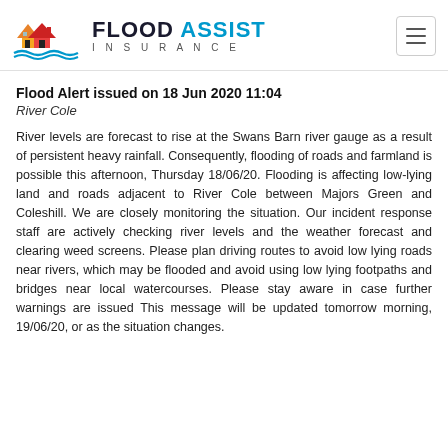FLOOD ASSIST INSURANCE
Flood Alert issued on 18 Jun 2020 11:04
River Cole
River levels are forecast to rise at the Swans Barn river gauge as a result of persistent heavy rainfall. Consequently, flooding of roads and farmland is possible this afternoon, Thursday 18/06/20. Flooding is affecting low-lying land and roads adjacent to River Cole between Majors Green and Coleshill. We are closely monitoring the situation. Our incident response staff are actively checking river levels and the weather forecast and clearing weed screens. Please plan driving routes to avoid low lying roads near rivers, which may be flooded and avoid using low lying footpaths and bridges near local watercourses. Please stay aware in case further warnings are issued This message will be updated tomorrow morning, 19/06/20, or as the situation changes.